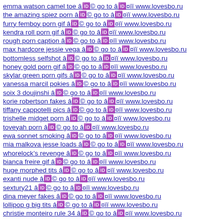emma watson camel toe â© go to â¤ï¸ï¸ www.lovesbo.ru
the amazing spiez porn â© go to â¤ï¸ï¸ www.lovesbo.ru
furry femboy porn gif â© go to â¤ï¸ï¸ www.lovesbo.ru
kendra roll porn gif â© go to â¤ï¸ï¸ www.lovesbo.ru
rough porn caption â© go to â¤ï¸ï¸ www.lovesbo.ru
max hardcore jessie vega â© go to â¤ï¸ï¸ www.lovesbo.ru
bottomless selfshot â© go to â¤ï¸ï¸ www.lovesbo.ru
honey gold porn gif â© go to â¤ï¸ï¸ www.lovesbo.ru
skylar green porn gifs â© go to â¤ï¸ï¸ www.lovesbo.ru
vanessa marcil pokies â© go to â¤ï¸ï¸ www.lovesbo.ru
soix 3 doujinshi â© go to â¤ï¸ï¸ www.lovesbo.ru
korie robertson fakes â© go to â¤ï¸ï¸ www.lovesbo.ru
tiffany cappotelli pics â© go to â¤ï¸ï¸ www.lovesbo.ru
trishelle midget porn â© go to â¤ï¸ï¸ www.lovesbo.ru
toveyah porn â© go to â¤ï¸ï¸ www.lovesbo.ru
ewa sonnet smoking â© go to â¤ï¸ï¸ www.lovesbo.ru
mia malkova jesse loads â© go to â¤ï¸ï¸ www.lovesbo.ru
whorelock's revenge â© go to â¤ï¸ï¸ www.lovesbo.ru
bianca freire gif â© go to â¤ï¸ï¸ www.lovesbo.ru
huge morphed tits â© go to â¤ï¸ï¸ www.lovesbo.ru
exanti nude â© go to â¤ï¸ï¸ www.lovesbo.ru
sextury21 â© go to â¤ï¸ï¸ www.lovesbo.ru
dina meyer fakes â© go to â¤ï¸ï¸ www.lovesbo.ru
lollipop g big tits â© go to â¤ï¸ï¸ www.lovesbo.ru
christie monteiro rule 34 â© go to â¤ï¸ï¸ www.lovesbo.ru